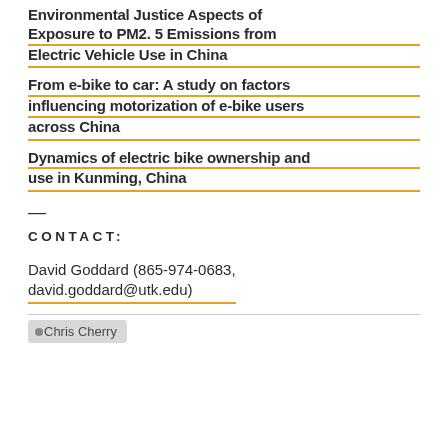Environmental Justice Aspects of Exposure to PM2. 5 Emissions from Electric Vehicle Use in China
From e-bike to car: A study on factors influencing motorization of e-bike users across China
Dynamics of electric bike ownership and use in Kunming, China
—
CONTACT:
David Goddard (865-974-0683, david.goddard@utk.edu)
Chris Cherry